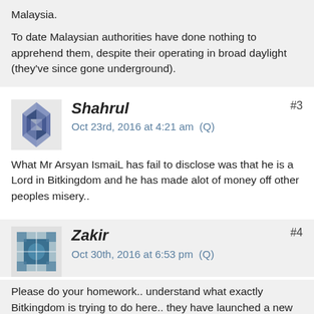Malaysia.

To date Malaysian authorities have done nothing to apprehend them, despite their operating in broad daylight (they've since gone underground).
Shahrul
Oct 23rd, 2016 at 4:21 am  (Q)
#3
What Mr Arsyan IsmaiL has fail to disclose was that he is a Lord in Bitkingdom and he has made alot of money off other peoples misery..
Zakir
Oct 30th, 2016 at 6:53 pm  (Q)
#4
Please do your homework.. understand what exactly Bitkingdom is trying to do here.. they have launched a new Cryptocurrency called Aureus..

And question yourself why people get attracted to Bitcoin..
Bitkingdom is the Best community banking ever...